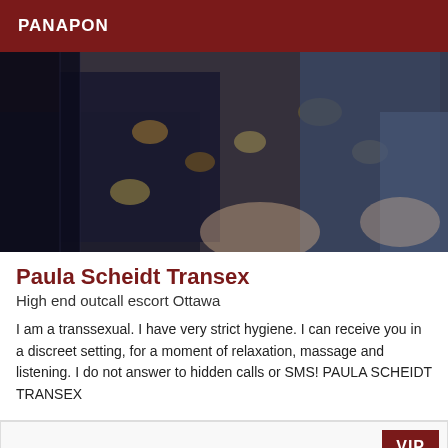PANAPON
[Figure (photo): Close-up photo of a person wearing leopard print and blue lace/fishnet clothing]
Paula Scheidt Transex
High end outcall escort Ottawa
I am a transsexual. I have very strict hygiene. I can receive you in a discreet setting, for a moment of relaxation, massage and listening. I do not answer to hidden calls or SMS! PAULA SCHEIDT TRANSEX
VIP